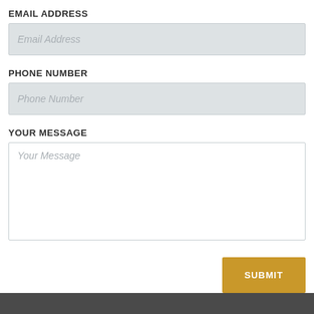EMAIL ADDRESS
Email Address
PHONE NUMBER
Phone Number
YOUR MESSAGE
Your Message
SUBMIT